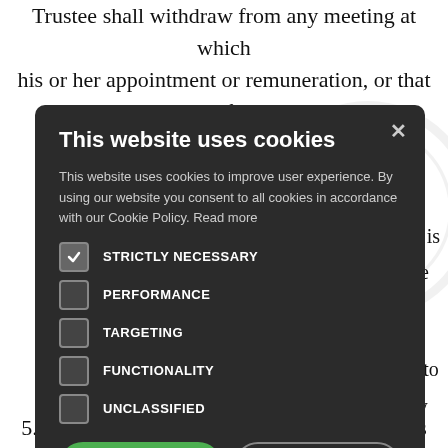Trustee shall withdraw from any meeting at which his or her appointment or remuneration, or that of
on for any any ation who is nber of the nd proper s less than ring bank to t in money ich a ot more that
[Figure (screenshot): Cookie consent popup modal with dark background. Title: 'This website uses cookies'. Body text about cookie policy. Checkboxes for: STRICTLY NECESSARY (checked), PERFORMANCE, TARGETING, FUNCTIONALITY, UNCLASSIFIED. Buttons: ACCEPT ALL (green), DECLINE ALL (outlined). SHOW DETAILS link at bottom.]
5.5 of reasonable and proper rent for premises